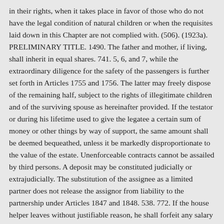in their rights, when it takes place in favor of those who do not have the legal condition of natural children or when the requisites laid down in this Chapter are not complied with. (506). (1923a). PRELIMINARY TITLE. 1490. The father and mother, if living, shall inherit in equal shares. 741. 5, 6, and 7, while the extraordinary diligence for the safety of the passengers is further set forth in Articles 1755 and 1756. The latter may freely dispose of the remaining half, subject to the rights of illegitimate children and of the surviving spouse as hereinafter provided. If the testator or during his lifetime used to give the legatee a certain sum of money or other things by way of support, the same amount shall be deemed bequeathed, unless it be markedly disproportionate to the value of the estate. Unenforceable contracts cannot be assailed by third persons. A deposit may be constituted judicially or extrajudicially. The substitution of the assignee as a limited partner does not release the assignor from liability to the partnership under Articles 1847 and 1848. 538. 772. If the house helper leaves without justifiable reason, he shall forfeit any salary due him and unpaid, for not exceeding fifteen days. In the line, as many degrees are counted as there are generations or persons, excluding the progenitor. If the doubts are cast upon the principal object of the contract in such a way that it cannot be known what may have been the intention, it will